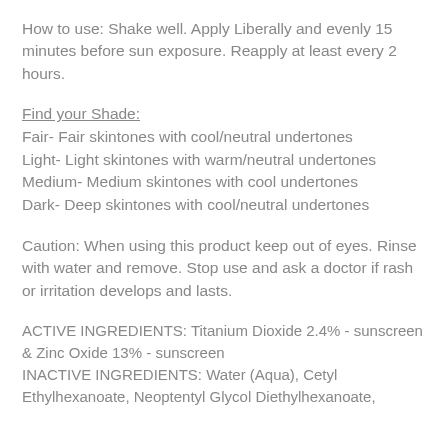How to use: Shake well. Apply Liberally and evenly 15 minutes before sun exposure. Reapply at least every 2 hours.
Find your Shade:
Fair- Fair skintones with cool/neutral undertones
Light- Light skintones with warm/neutral undertones
Medium- Medium skintones with cool undertones
Dark- Deep skintones with cool/neutral undertones
Caution: When using this product keep out of eyes. Rinse with water and remove. Stop use and ask a doctor if rash or irritation develops and lasts.
ACTIVE INGREDIENTS: Titanium Dioxide 2.4% - sunscreen & Zinc Oxide 13% - sunscreen
INACTIVE INGREDIENTS: Water (Aqua), Cetyl Ethylhexanoate, Neoptentyl Glycol Diethylhexanoate,